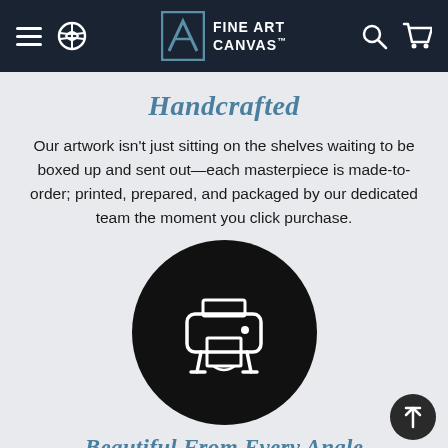Fine Art Canvas™ navigation bar
Handcrafted
Our artwork isn't just sitting on the shelves waiting to be boxed up and sent out—each masterpiece is made-to-order; printed, prepared, and packaged by our dedicated team the moment you click purchase.
[Figure (illustration): Black circle icon containing a white outline illustration of a large-format printer with paper roll]
Beautiful From Every Angle
Giclée is the artist preferred printing method as it ensures the highest quality and most true-to-life